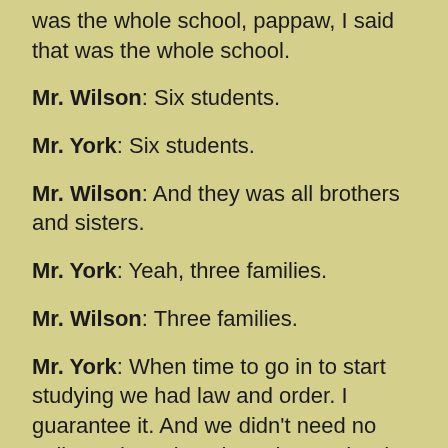was the whole school, pappaw, I said that was the whole school.
Mr. Wilson: Six students.
Mr. York: Six students.
Mr. Wilson: And they was all brothers and sisters.
Mr. York: Yeah, three families.
Mr. Wilson: Three families.
Mr. York: When time to go in to start studying we had law and order. I guarantee it. And we didn't need no police to have it, to have law and order.